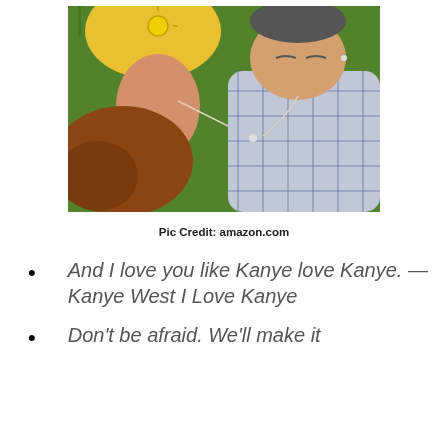[Figure (photo): Two young people (a woman in yellow shirt and a man in plaid shirt) lying on grass listening to music through shared earphones, viewed from above]
Pic Credit: amazon.com
And I love you like Kanye love Kanye. —Kanye West I Love Kanye
Don't be afraid. We'll make it